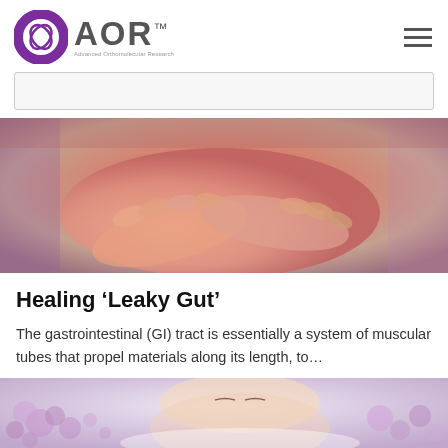AOR Advanced Orthomolecular Research
[Figure (photo): Hero image of hands holding/clutching abdomen area, reddish warm tones, illustrating gut/digestive pain]
Healing ‘Leaky Gut’
The gastrointestinal (GI) tract is essentially a system of muscular tubes that propel materials along its length, to…
Digestive Health, Natural Health Products, Nutrition and Lifestyle
[Figure (photo): Bottom partial image showing a person lying among purple/lavender flowers with eyes closed, spa/wellness theme]